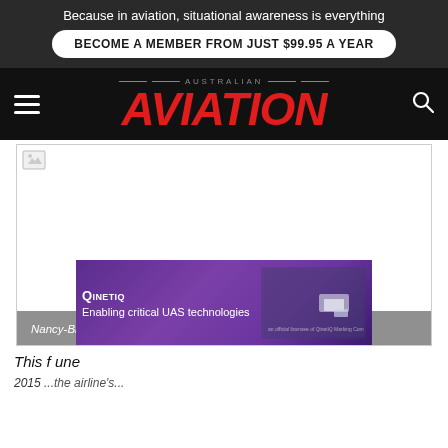Because in aviation, situational awareness is everything
BECOME A MEMBER FROM JUST $99.95 A YEAR
[Figure (logo): Australian Aviation logo with red italic AVIATION text on black background]
[Figure (photo): Broken image placeholder for photo of Nancy-Bird returns to Sydney on April 22 2012]
Nancy-Bird returns to Sydney on April 22 2012. (Seth Jaworski)
[Figure (screenshot): QinetiQ advertisement banner: Enabling critical UAS technologies]
This f... une